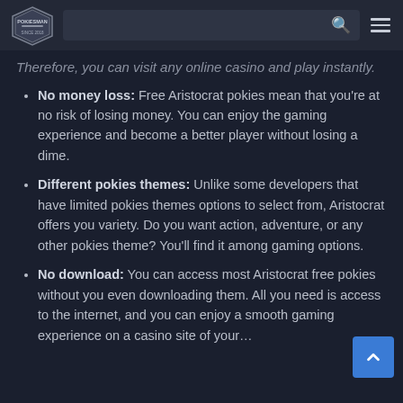Pokiesman logo, search bar, menu icon
Therefore, you can visit any online casino and play instantly.
No money loss: Free Aristocrat pokies mean that you're at no risk of losing money. You can enjoy the gaming experience and become a better player without losing a dime.
Different pokies themes: Unlike some developers that have limited pokies themes options to select from, Aristocrat offers you variety. Do you want action, adventure, or any other pokies theme? You'll find it among gaming options.
No download: You can access most Aristocrat free pokies without you even downloading them. All you need is access to the internet, and you can enjoy a smooth gaming experience on a casino site of your…